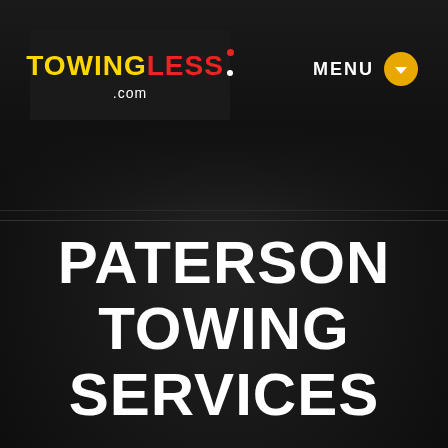[Figure (logo): TowingLess.com logo — 'TOWING' in yellow bold, 'LESS' in red bold, with decorative dots, '.com' below in white, on dark background]
MENU
PATERSON TOWING SERVICES